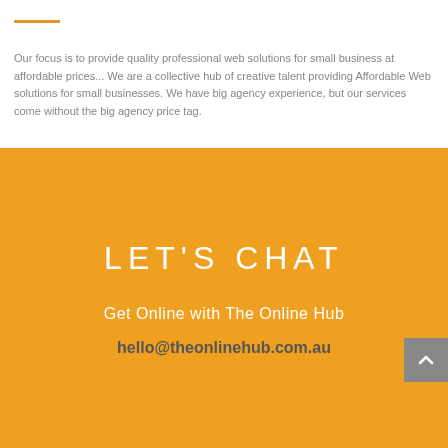Our focus is to provide quality professional web solutions for small business at affordable prices... We are a collective hub of creative talent providing Affordable Web solutions for small businesses. We have big agency experience, but our services come without the big agency price tag.
LET'S CHAT
Get Online with The Online Hub
hello@theonlinehub.com.au